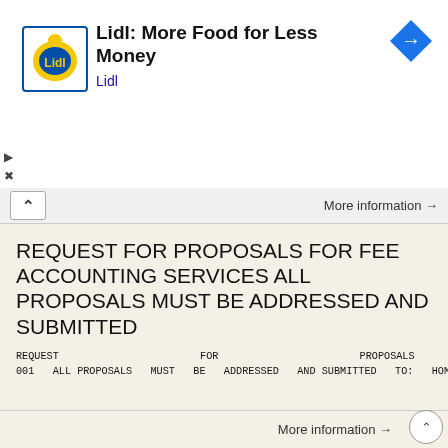[Figure (infographic): Lidl advertisement banner with Lidl logo (yellow circle with blue Lidl text), headline 'Lidl: More Food for Less Money', subtext 'Lidl', and a blue diamond navigation icon on the right. Play and close controls on the left side.]
More information →
REQUEST FOR PROPOSALS FOR FEE ACCOUNTING SERVICES ALL PROPOSALS MUST BE ADDRESSED AND SUBMITTED
REQUEST FOR PROPOSALS FOR FEE ACCOUNTING SERVICES 13-001 ALL PROPOSALS MUST BE ADDRESSED AND SUBMITTED TO: HOMESTEAD HOUSING AUTHORITY OSCAR HENTSCHEL EXECUTIVE DIRECTOR 29355 SOUTH FEDERAL HWY. HOMESTEAD,
More information →